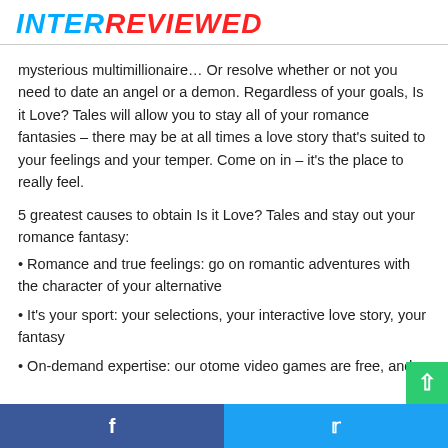INTERREVIEWED
mysterious multimillionaire… Or resolve whether or not you need to date an angel or a demon. Regardless of your goals, Is it Love? Tales will allow you to stay all of your romance fantasies – there may be at all times a love story that's suited to your feelings and your temper. Come on in – it's the place to really feel.
5 greatest causes to obtain Is it Love? Tales and stay out your romance fantasy:
• Romance and true feelings: go on romantic adventures with the character of your alternative
• It's your sport: your selections, your interactive love story, your fantasy
• On-demand expertise: our otome video games are free, and